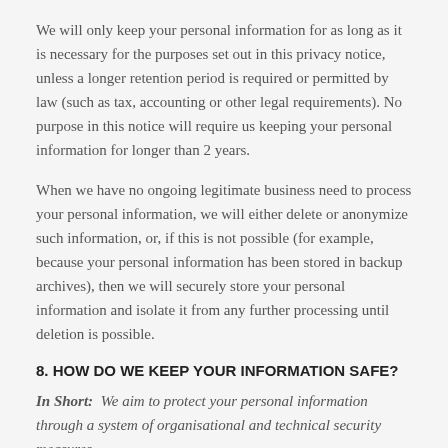We will only keep your personal information for as long as it is necessary for the purposes set out in this privacy notice, unless a longer retention period is required or permitted by law (such as tax, accounting or other legal requirements). No purpose in this notice will require us keeping your personal information for longer than 2 years.
When we have no ongoing legitimate business need to process your personal information, we will either delete or anonymize such information, or, if this is not possible (for example, because your personal information has been stored in backup archives), then we will securely store your personal information and isolate it from any further processing until deletion is possible.
8. HOW DO WE KEEP YOUR INFORMATION SAFE?
In Short: We aim to protect your personal information through a system of organisational and technical security measures.